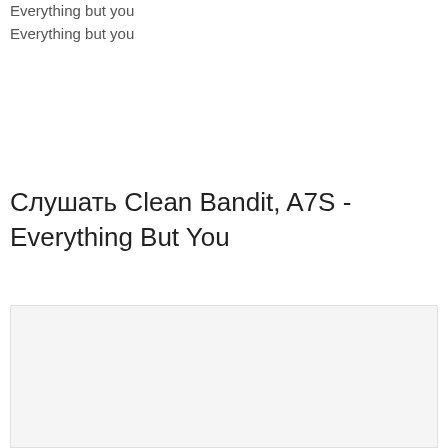Everything but you
Everything but you
Слушать Clean Bandit, A7S - Everything But You
[Figure (other): Embedded media player or content block (light gray rectangle)]